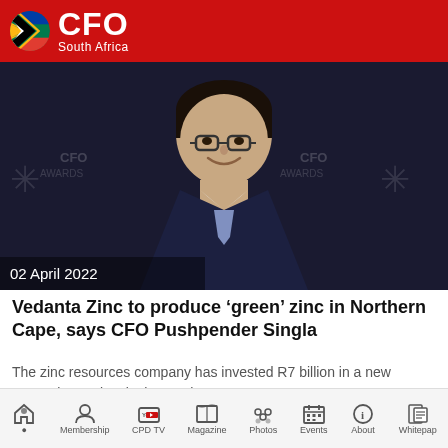CFO South Africa
[Figure (photo): Photo of CFO Pushpender Singla at CFO Awards event with dark background showing CFO Awards branding. Date overlay reads 02 April 2022.]
Vedanta Zinc to produce ‘green’ zinc in Northern Cape, says CFO Pushpender Singla
The zinc resources company has invested R7 billion in a new expansion project in the Northern Cape.
Your CFO Community
Home | Membership | CPD TV | Magazine | Photos | Events | About | Whitepaper